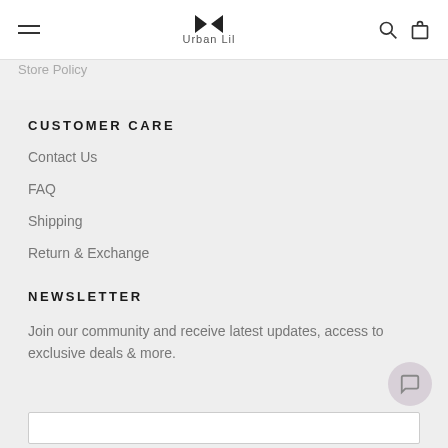Urban Lil
Store Policy
CUSTOMER CARE
Contact Us
FAQ
Shipping
Return & Exchange
NEWSLETTER
Join our community and receive latest updates, access to exclusive deals & more.